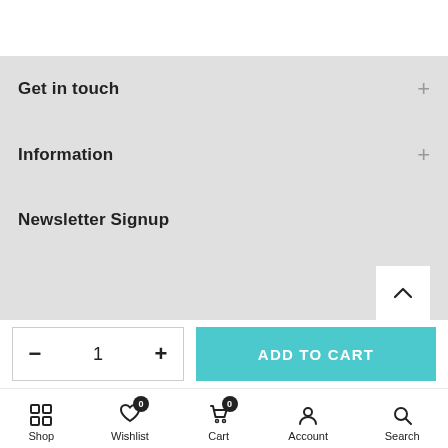Get in touch
Information
Newsletter Signup
ADD TO CART
- 1 +
Shop  Wishlist  Cart  Account  Search